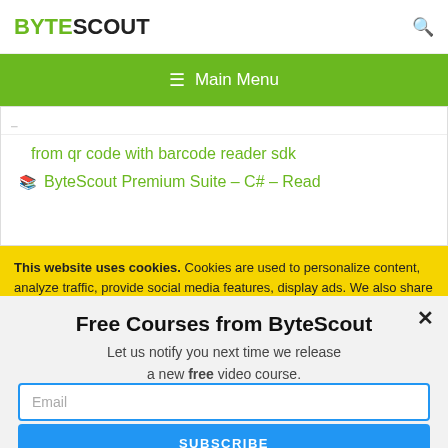[Figure (screenshot): ByteScout website header with green BYTE and black SCOUT logo, and a search icon on the right]
[Figure (screenshot): Green navigation bar with hamburger menu icon and 'Main Menu' text]
from qr code with barcode reader sdk
ByteScout Premium Suite – C# – Read
This website uses cookies. Cookies are used to personalize content, analyze traffic, provide social media features, display ads. We also share
Free Courses from ByteScout
Let us notify you next time we release a new free video course.